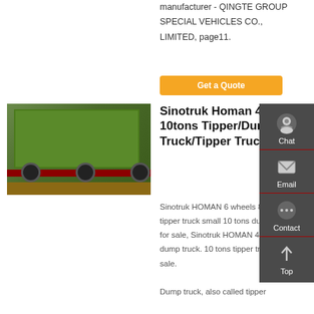manufacturer - QINGTE GROUP SPECIAL VEHICLES CO., LIMITED, page11.
Get a Quote
[Figure (photo): Rear view of a green Sinotruk Homan tipper/dump truck parked outdoors]
Sinotruk Homan 4×2 10tons Tipper/Dump Truck/Tipper Truck
Sinotruk HOMAN 6 wheels 8 tons tipper truck small 10 tons dump truck for sale, Sinotruk HOMAN 4x2 small dump truck. 10 tons tipper truck for sale. Dump truck, also called tipper
Chat
Email
Contact
Top